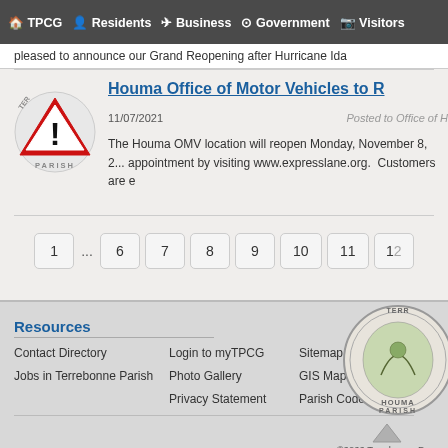TPCG  Residents  Business  Government  Visitors
pleased to announce our Grand Reopening after Hurricane Ida
Houma Office of Motor Vehicles to R
11/07/2021    Posted to Office of H
The Houma OMV location will reopen Monday, November 8, 2... appointment by visiting www.expresslane.org.  Customers are e
Resources
Contact Directory
Jobs in Terrebonne Parish
Login to myTPCG
Photo Gallery
Privacy Statement
Sitemap
GIS Maps
Parish Code
©2022 Terrebonne Para
Return To Top